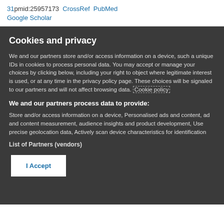31pmid:25957173  CrossRef  PubMed  Google Scholar
Cookies and privacy
We and our partners store and/or access information on a device, such a unique IDs in cookies to process personal data. You may accept or manage your choices by clicking below, including your right to object where legitimate interest is used, or at any time in the privacy policy page. These choices will be signaled to our partners and will not affect browsing data. Cookie policy
We and our partners process data to provide:
Store and/or access information on a device, Personalised ads and content, ad and content measurement, audience insights and product development, Use precise geolocation data, Actively scan device characteristics for identification
List of Partners (vendors)
I Accept